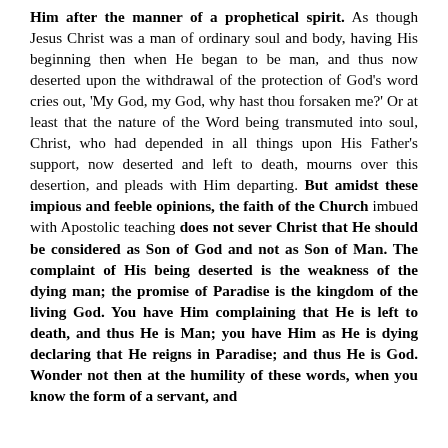Him after the manner of a prophetical spirit. As though Jesus Christ was a man of ordinary soul and body, having His beginning then when He began to be man, and thus now deserted upon the withdrawal of the protection of God's word cries out, 'My God, my God, why hast thou forsaken me?' Or at least that the nature of the Word being transmuted into soul, Christ, who had depended in all things upon His Father's support, now deserted and left to death, mourns over this desertion, and pleads with Him departing. But amidst these impious and feeble opinions, the faith of the Church imbued with Apostolic teaching does not sever Christ that He should be considered as Son of God and not as Son of Man. The complaint of His being deserted is the weakness of the dying man; the promise of Paradise is the kingdom of the living God. You have Him complaining that He is left to death, and thus He is Man; you have Him as He is dying declaring that He reigns in Paradise; and thus He is God. Wonder not then at the humility of these words, when you know the form of a servant, and